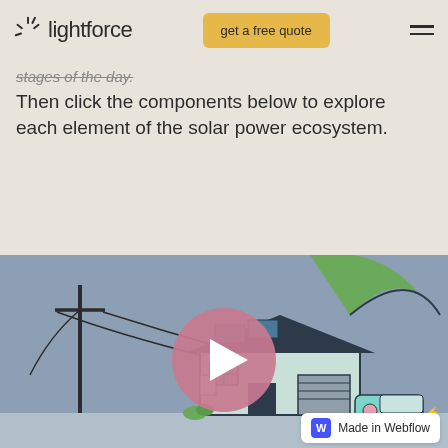lightforce — get a free quote
stages of the day.
Then click the components below to explore each element of the solar power ecosystem.
[Figure (illustration): Animated illustration of a house with solar panels, an electric vehicle (VW van), utility poles with power lines, and a large plant/leaf in the background. A pink circular play button is centered over the scene on a gray-blue background. A 'Made in Webflow' badge appears in the bottom-right corner.]